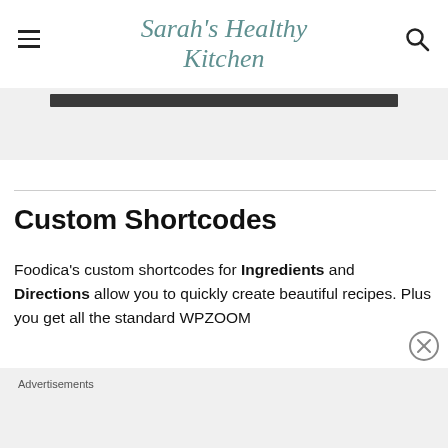Sarah's Healthy Kitchen
[Figure (screenshot): Partial image strip showing a dark bar at the top, light gray background below]
Custom Shortcodes
Foodica's custom shortcodes for Ingredients and Directions allow you to quickly create beautiful recipes. Plus you get all the standard WPZOOM
Advertisements